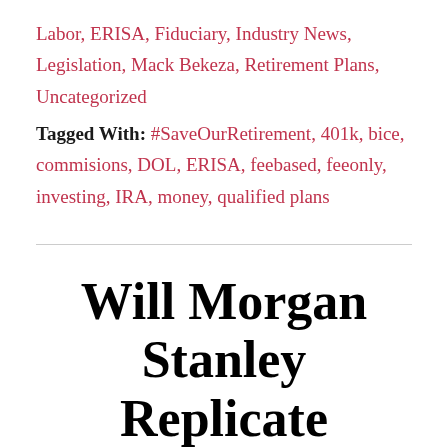Labor, ERISA, Fiduciary, Industry News, Legislation, Mack Bekeza, Retirement Plans, Uncategorized
Tagged With: #SaveOurRetirement, 401k, bice, commisions, DOL, ERISA, feebased, feeonly, investing, IRA, money, qualified plans
Will Morgan Stanley Replicate Merrill